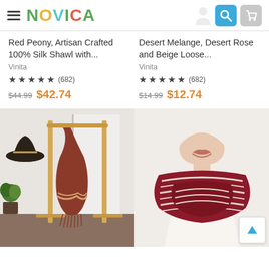NOVICA
Red Peony, Artisan Crafted 100% Silk Shawl with...
Vinita
★★★★★ (682)
$44.99 $42.74
Desert Melange, Desert Rose and Beige Loose...
Vinita
★★★★★ (682)
$14.99 $12.74
[Figure (photo): A dark red/rust colored silk shawl draped on a wooden clothing rack with a hat and plants in the background]
[Figure (photo): A woman wearing a dark red and beige striped infinity scarf, smiling]